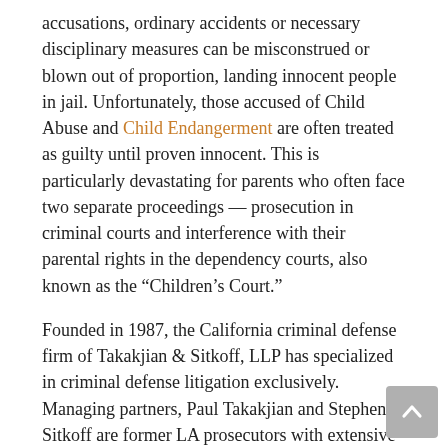accusations, ordinary accidents or necessary disciplinary measures can be misconstrued or blown out of proportion, landing innocent people in jail. Unfortunately, those accused of Child Abuse and Child Endangerment are often treated as guilty until proven innocent. This is particularly devastating for parents who often face two separate proceedings — prosecution in criminal courts and interference with their parental rights in the dependency courts, also known as the “Children’s Court.”
Founded in 1987, the California criminal defense firm of Takakjian & Sitkoff, LLP has specialized in criminal defense litigation exclusively. Managing partners, Paul Takakjian and Stephen Sitkoff are former LA prosecutors with extensive experience defending Child Abuse charges in Los Angeles. If you’ve come under investigation or have been recently arrested for Child Abuse, contact our Los Angeles Child Abuse lawyers immediately (888) 579-4844 for a free consultation.
[Figure (other): Scroll-to-top button (grey rounded square with upward chevron arrow)]